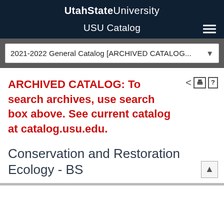Utah State University
USU Catalog
2021-2022 General Catalog [ARCHIVED CATALOG...
ARCHIVED CATALOG: To search archives, use search box above. See current catalog at catalog.usu.edu.
Conservation and Restoration Ecology - BS